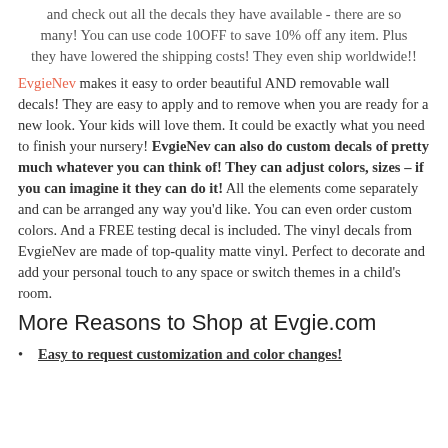and check out all the decals they have available - there are so many! You can use code 10OFF to save 10% off any item. Plus they have lowered the shipping costs! They even ship worldwide!!
EvgieNev makes it easy to order beautiful AND removable wall decals! They are easy to apply and to remove when you are ready for a new look. Your kids will love them. It could be exactly what you need to finish your nursery! EvgieNev can also do custom decals of pretty much whatever you can think of! They can adjust colors, sizes – if you can imagine it they can do it! All the elements come separately and can be arranged any way you'd like. You can even order custom colors. And a FREE testing decal is included. The vinyl decals from EvgieNev are made of top-quality matte vinyl. Perfect to decorate and add your personal touch to any space or switch themes in a child's room.
More Reasons to Shop at Evgie.com
Easy to request customization and color changes!